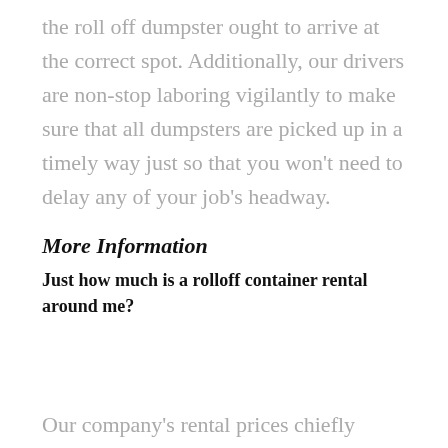the roll off dumpster ought to arrive at the correct spot. Additionally, our drivers are non-stop laboring vigilantly to make sure that all dumpsters are picked up in a timely way just so that you won't need to delay any of your job's headway.
More Information
Just how much is a rolloff container rental around me?
Our company's rental prices chiefly